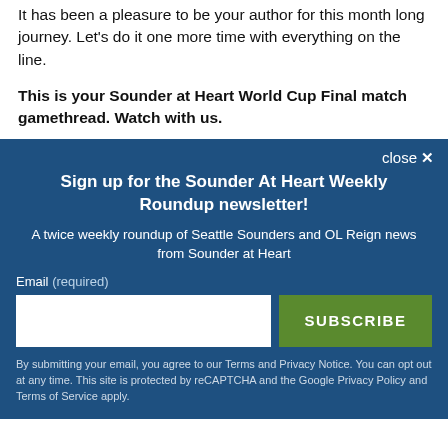It has been a pleasure to be your author for this month long journey. Let's do it one more time with everything on the line.
This is your Sounder at Heart World Cup Final match gamethread. Watch with us.
Sign up for the Sounder At Heart Weekly Roundup newsletter!
A twice weekly roundup of Seattle Sounders and OL Reign news from Sounder at Heart
Email (required)
SUBSCRIBE
By submitting your email, you agree to our Terms and Privacy Notice. You can opt out at any time. This site is protected by reCAPTCHA and the Google Privacy Policy and Terms of Service apply.